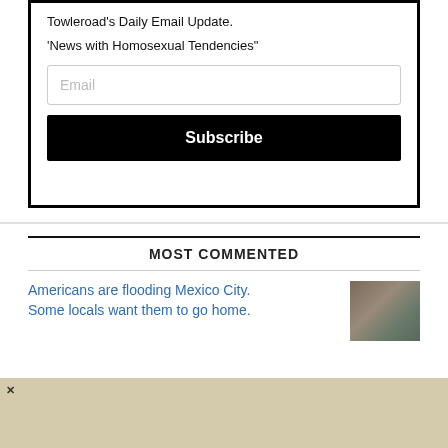Towleroad's Daily Email Update.
'News with Homosexual Tendencies"
Email
Subscribe
MOST COMMENTED
Americans are flooding Mexico City. Some locals want them to go home.